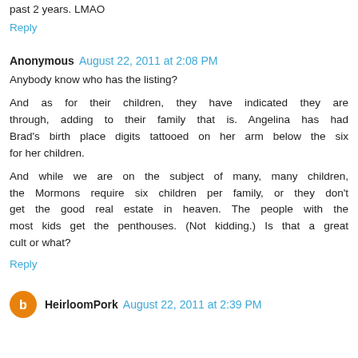past 2 years. LMAO
Reply
Anonymous August 22, 2011 at 2:08 PM
Anybody know who has the listing?
And as for their children, they have indicated they are through, adding to their family that is. Angelina has had Brad's birth place digits tattooed on her arm below the six for her children.
And while we are on the subject of many, many children, the Mormons require six children per family, or they don't get the good real estate in heaven. The people with the most kids get the penthouses. (Not kidding.) Is that a great cult or what?
Reply
HeirloomPork August 22, 2011 at 2:39 PM